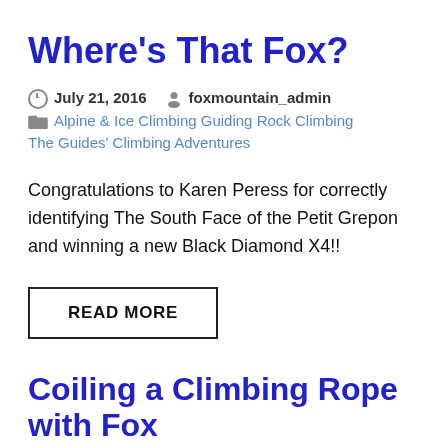Where’s That Fox?
July 21, 2016  foxmountain_admin  Alpine & Ice Climbing Guiding Rock Climbing The Guides’ Climbing Adventures
Congratulations to Karen Peress for correctly identifying The South Face of the Petit Grepon and winning a new Black Diamond X4!!
READ MORE
Coiling a Climbing Rope with Fox